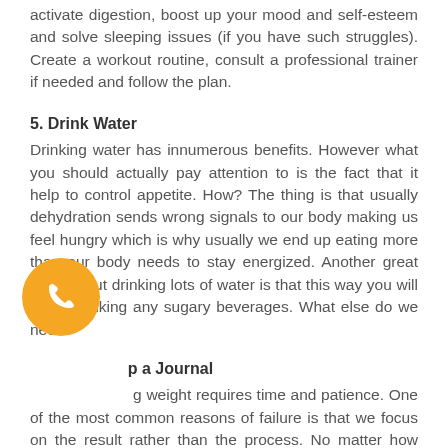activate digestion, boost up your mood and self-esteem and solve sleeping issues (if you have such struggles). Create a workout routine, consult a professional trainer if needed and follow the plan.
5. Drink Water
Drinking water has innumerous benefits. However what you should actually pay attention to is the fact that it help to control appetite. How? The thing is that usually dehydration sends wrong signals to our body making us feel hungry which is why usually we end up eating more than our body needs to stay energized. Another great thing about drinking lots of water is that this way you will avoid drinking any sugary beverages. What else do we need?
p a Journal
g weight requires time and patience. One of the most common reasons of failure is that we focus on the result rather than the process. No matter how hard you try, it will take some time to see drastic changes. To keep